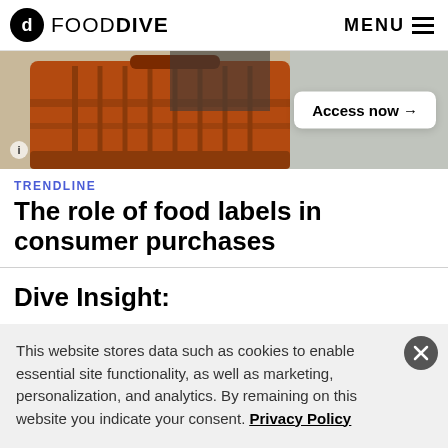FOOD DIVE  MENU
[Figure (photo): Person holding a red shopping basket in a grocery store, with an 'Access now →' button overlay]
TRENDLINE
The role of food labels in consumer purchases
Dive Insight:
As the market for its signature beverages becomes more
This website stores data such as cookies to enable essential site functionality, as well as marketing, personalization, and analytics. By remaining on this website you indicate your consent. Privacy Policy